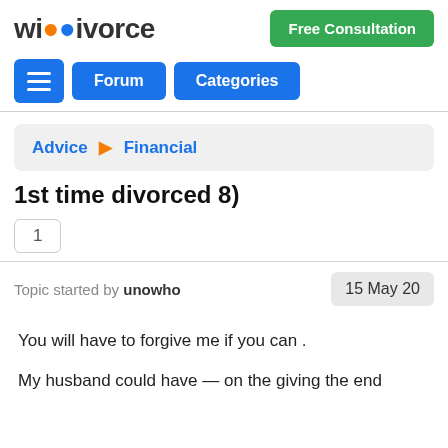wikivorce | Free Consultation | Forum | Categories
Advice › Financial
1st time divorced 8)
1
Topic started by unowho | 15 May 20
You will have to forgive me if you can .
My husband could have — on the giving the end...